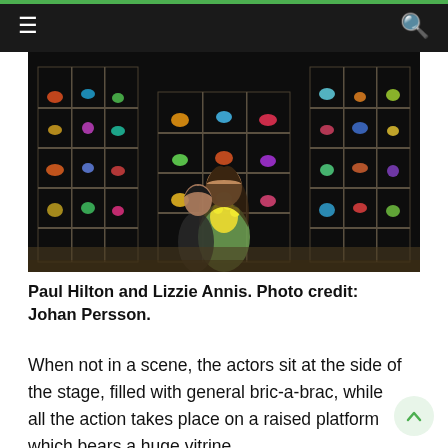≡  🔍
[Figure (photo): Paul Hilton and Lizzie Annis on stage surrounded by large glass shelving units filled with colourful glass animal figurines. A woman in a green dress holds yellow flowers while a man stands behind her.]
Paul Hilton and Lizzie Annis. Photo credit: Johan Persson.
When not in a scene, the actors sit at the side of the stage, filled with general bric-a-brac, while all the action takes place on a raised platform which bears a huge vitrine